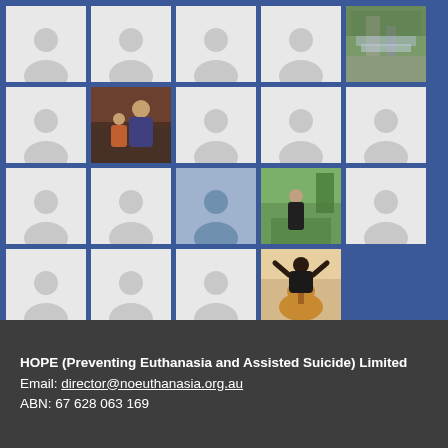[Figure (screenshot): A 5x4 grid of profile/photo thumbnails on a Facebook-blue background. Most cells show a gray placeholder person silhouette. Some cells show actual photos: top-right shows a waterfall/nature photo, second row second cell shows a photo of two people (adult and child), third row fourth cell shows a person standing outdoors, third row third cell has a blue-tinted placeholder, fourth row fourth cell shows a person holding a guitar from behind.]
HOPE (Preventing Euthanasia and Assisted Suicide) Limited
Email: director@noeuthanasia.org.au
ABN: 67 628 063 169